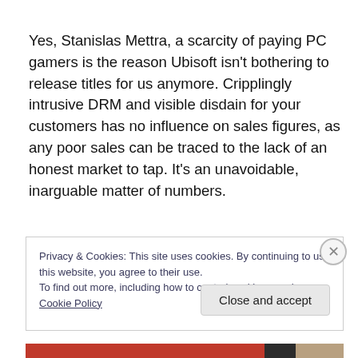Yes, Stanislas Mettra, a scarcity of paying PC gamers is the reason Ubisoft isn't bothering to release titles for us anymore. Cripplingly intrusive DRM and visible disdain for your customers has no influence on sales figures, as any poor sales can be traced to the lack of an honest market to tap. It's an unavoidable, inarguable matter of numbers.
Privacy & Cookies: This site uses cookies. By continuing to use this website, you agree to their use.
To find out more, including how to control cookies, see here: Cookie Policy